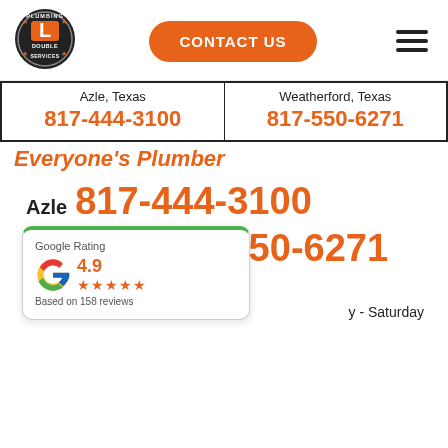[Figure (logo): Double L Plumbing Services circular logo with orange L letter]
CONTACT US
| Azle, Texas | Weatherford, Texas |
| --- | --- |
| 817-444-3100 | 817-550-6271 |
Everyone's Plumber
Azle 817-444-3100
Weatherford 817-550-6271
Your Go-To Plumber
y - Saturday
[Figure (other): Google Rating card showing 4.9 stars based on 158 reviews]